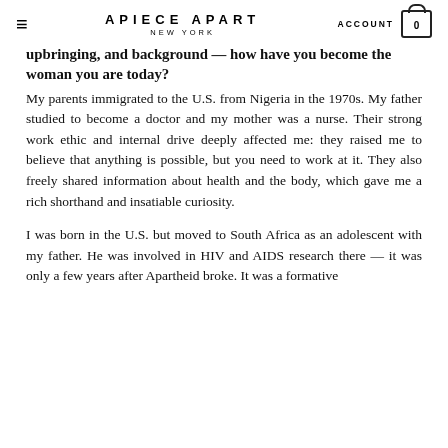APIECE APART NEW YORK | ACCOUNT | 0
upbringing, and background — how have you become the woman you are today?
My parents immigrated to the U.S. from Nigeria in the 1970s. My father studied to become a doctor and my mother was a nurse. Their strong work ethic and internal drive deeply affected me: they raised me to believe that anything is possible, but you need to work at it. They also freely shared information about health and the body, which gave me a rich shorthand and insatiable curiosity.
I was born in the U.S. but moved to South Africa as an adolescent with my father. He was involved in HIV and AIDS research there — it was only a few years after Apartheid broke. It was a formative